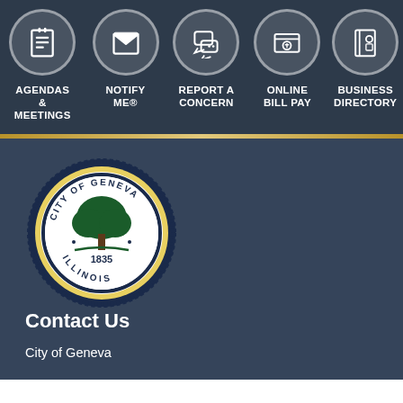[Figure (screenshot): Navigation menu bar with five icon buttons: Agendas & Meetings, Notify Me®, Report a Concern, Online Bill Pay, Business Directory]
[Figure (logo): City of Geneva, Illinois official seal — circular seal with tree, text 'City of Geneva Illinois 1835']
Contact Us
City of Geneva